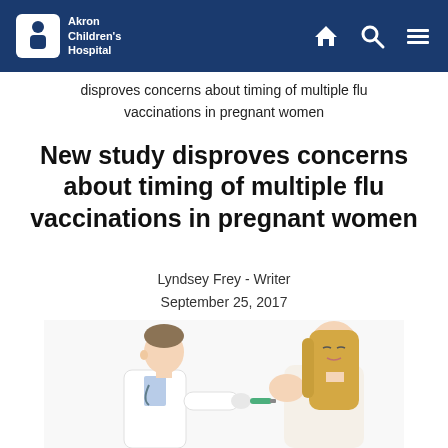Akron Children's Hospital
disproves concerns about timing of multiple flu vaccinations in pregnant women
New study disproves concerns about timing of multiple flu vaccinations in pregnant women
Lyndsey Frey - Writer
September 25, 2017
[Figure (photo): A male doctor in a white coat administering a vaccine injection to a pregnant woman's upper arm. The woman has long blonde hair and is wearing a white top, eyes closed. White background.]